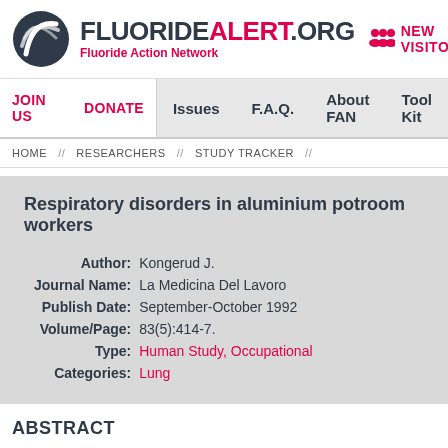[Figure (logo): FluorideAlert.org logo with spiral graphic icon, tagline Fluoride Action Network, and NEW VISITOR link in red]
JOIN US  DONATE  Issues  F.A.Q.  About FAN  Tool Kit
HOME // RESEARCHERS // STUDY TRACKER //
Respiratory disorders in aluminium potroom workers
| Label | Value |
| --- | --- |
| Author: | Kongerud J. |
| Journal Name: | La Medicina Del Lavoro |
| Publish Date: | September-October 1992 |
| Volume/Page: | 83(5):414-7. |
| Type: | Human Study, Occupational |
| Categories: | Lung |
ABSTRACT
Abstract text describing the study on respiratory disorders in aluminium potroom workers.